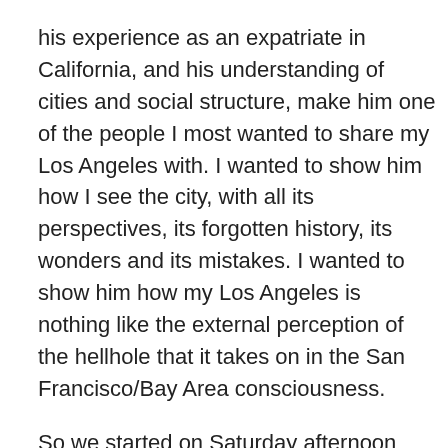his experience as an expatriate in California, and his understanding of cities and social structure, make him one of the people I most wanted to share my Los Angeles with. I wanted to show him how I see the city, with all its perspectives, its forgotten history, its wonders and its mistakes. I wanted to show him how my Los Angeles is nothing like the external perception of the hellhole that it takes on in the San Francisco/Bay Area consciousness.
So we started on Saturday afternoon with a trip to the Natural History Museum, which is now featuring the exhibit on Jared Diamond's COLLAPSE. It was fantastic. Andrew got to see dinosaurs. I got to see a model of downtown Los Angeles circa 1940, when Bunker Hill was still well-kept Victorian houses and the Art Deco civic center was the tallest and newest building downtown. And we both got